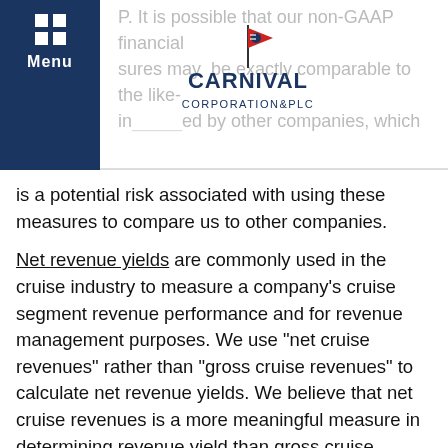Carnival Corporation & PLC — Menu header with logo
is a potential risk associated with using these measures to compare us to other companies.
Net revenue yields are commonly used in the cruise industry to measure a company's cruise segment revenue performance and for revenue management purposes. We use "net cruise revenues" rather than "gross cruise revenues" to calculate net revenue yields. We believe that net cruise revenues is a more meaningful measure in determining revenue yield than gross cruise revenues because it reflects the cruise revenues earned net of our most significant variable costs, which are travel agent commissions, cost of air and other transportation, certain other costs that are directly associated with onboard and other revenues and credit and debit card fees.